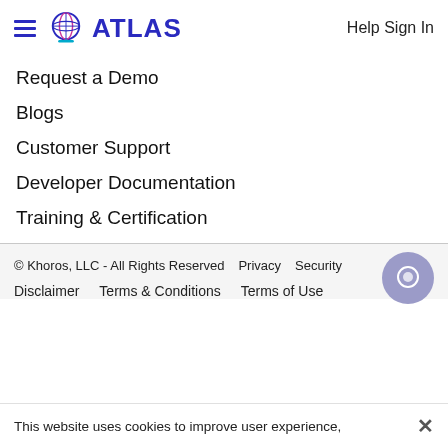ATLAS   Help Sign In
Request a Demo
Blogs
Customer Support
Developer Documentation
Training & Certification
© Khoros, LLC - All Rights Reserved   Privacy   Security   Disclaimer   Terms & Conditions   Terms of Use
This website uses cookies to improve user experience,